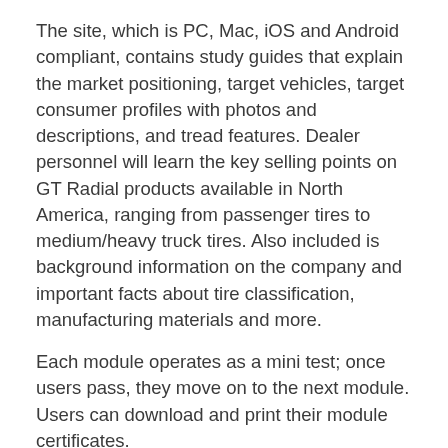The site, which is PC, Mac, iOS and Android compliant, contains study guides that explain the market positioning, target vehicles, target consumer profiles with photos and descriptions, and tread features. Dealer personnel will learn the key selling points on GT Radial products available in North America, ranging from passenger tires to medium/heavy truck tires. Also included is background information on the company and important facts about tire classification, manufacturing materials and more.
Each module operates as a mini test; once users pass, they move on to the next module. Users can download and print their module certificates. “Our dealers play an absolutely critical role in communicating the features and benefits of GT Radial products to end users,” said Julianto Djajadi, vice president of marketing for GITI Tire USA. “Our goal is to help dealer personnel understand everything they need to know to effectively assist and advise their customers.”